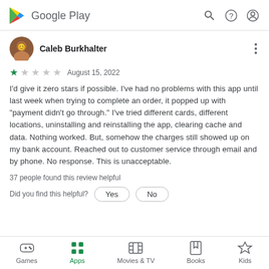Google Play
Caleb Burkhalter
★ August 15, 2022
I'd give it zero stars if possible. I've had no problems with this app until last week when trying to complete an order, it popped up with "payment didn't go through." I've tried different cards, different locations, uninstalling and reinstalling the app, clearing cache and data. Nothing worked. But, somehow the charges still showed up on my bank account. Reached out to customer service through email and by phone. No response. This is unacceptable.
37 people found this review helpful
Did you find this helpful?  Yes  No
Games  Apps  Movies & TV  Books  Kids